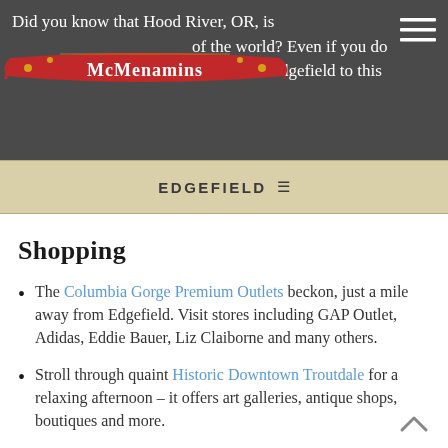Did you know that Hood River, OR, is [windsurfing capital] of the world? Even if you don't windsurf (yet!), the hour's drive from Edgefield to this
[Figure (logo): McMenamins red banner logo with decorative scroll design]
EDGEFIELD ≡
Shopping
The Columbia Gorge Premium Outlets beckon, just a mile away from Edgefield. Visit stores including GAP Outlet, Adidas, Eddie Bauer, Liz Claiborne and many others.
Stroll through quaint Historic Downtown Troutdale for a relaxing afternoon – it offers art galleries, antique shops, boutiques and more.
There is plenty of shopping to be found in downtown Portland, just twenty minutes west of Edgefield – go [cut off]